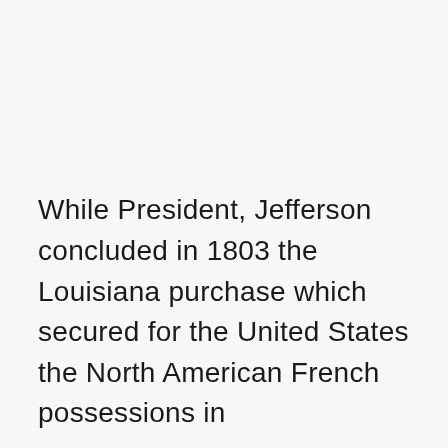While President, Jefferson concluded in 1803 the Louisiana purchase which secured for the United States the North American French possessions in